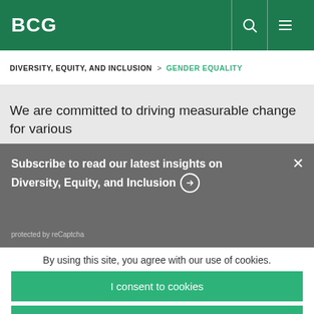BCG
DIVERSITY, EQUITY, AND INCLUSION  >  GENDER EQUALITY
We are committed to driving measurable change for various
Subscribe to read our latest insights on Diversity, Equity, and Inclusion
protected by reCaptcha
By using this site, you agree with our use of cookies.
I consent to cookies
Want to know more?
Read our Cookie Policy